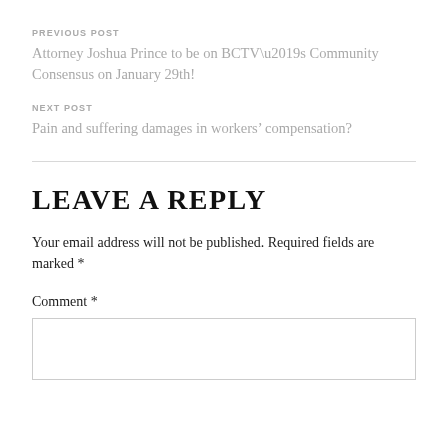PREVIOUS POST
Attorney Joshua Prince to be on BCTV’s Community Consensus on January 29th!
NEXT POST
Pain and suffering damages in workers’ compensation?
LEAVE A REPLY
Your email address will not be published. Required fields are marked *
Comment *